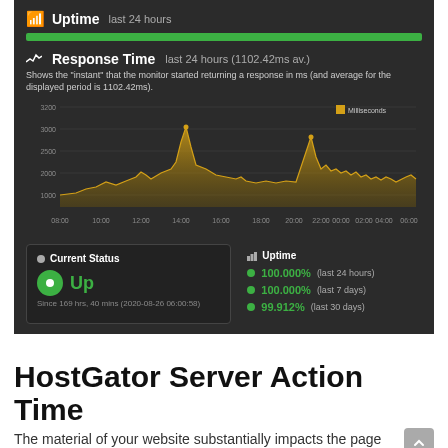[Figure (screenshot): Dashboard screenshot showing Uptime last 24 hours with green uptime bar, Response Time chart (last 24 hours, 1102.42ms av.) with yellow area line chart over dark background, Current Status showing 'Up' since 169 hrs 40 mins, and Uptime statistics: 100.000% last 24 hours, 100.000% last 7 days, 99.912% last 30 days]
HostGator Server Action Time
The material of your website substantially impacts the page